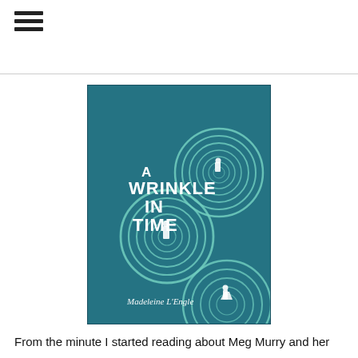≡
[Figure (photo): Book cover of 'A Wrinkle in Time' by Madeleine L'Engle. The cover features a teal/blue background with concentric spiral rings and silhouetted figures of people standing within the swirls. The title 'A WRINKLE IN TIME' is displayed in bold white text, and the author's name 'Madeleine L'Engle' appears at the bottom in italic white text.]
From the minute I started reading about Meg Murry and her